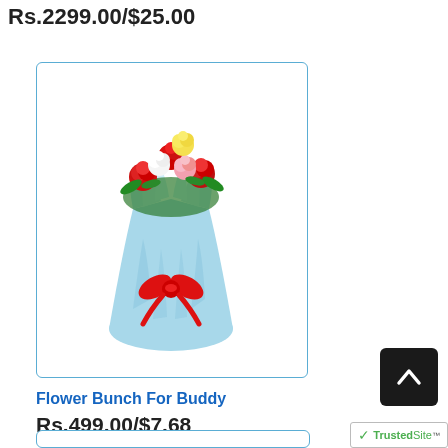Rs.2299.00/$25.00
[Figure (photo): A flower bouquet with mixed roses (red, white, pink, yellow) wrapped in light blue tissue paper with a red bow, displayed in a product card with blue border.]
Flower Bunch For Buddy
Rs.499.00/$7.68